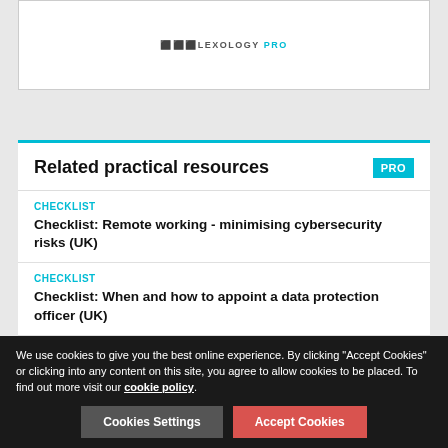[Figure (logo): Lexology PRO logo at top of page]
Related practical resources
CHECKLIST
Checklist: Remote working - minimising cybersecurity risks (UK)
CHECKLIST
Checklist: When and how to appoint a data protection officer (UK)
CHECKLIST
Checklist: Data subject access rights under the GDPR (UK)
We use cookies to give you the best online experience. By clicking "Accept Cookies" or clicking into any content on this site, you agree to allow cookies to be placed. To find out more visit our cookie policy